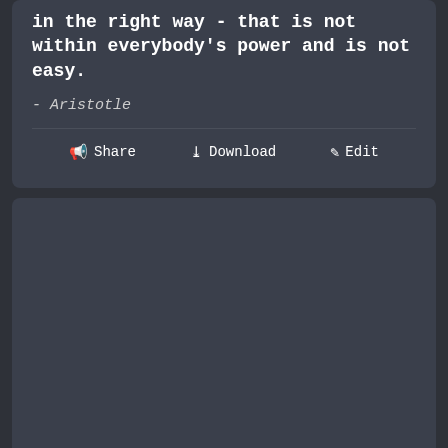in the right way - that is not within everybody's power and is not easy.
- Aristotle
Share   Download   Edit
[Figure (other): Empty dark card placeholder below the quote card]